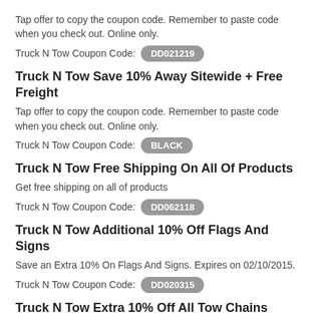Tap offer to copy the coupon code. Remember to paste code when you check out. Online only.
Truck N Tow Coupon Code: DD021219
Truck N Tow Save 10% Away Sitewide + Free Freight
Tap offer to copy the coupon code. Remember to paste code when you check out. Online only.
Truck N Tow Coupon Code: BLACK
Truck N Tow Free Shipping On All Of Products
Get free shipping on all of products
Truck N Tow Coupon Code: DD062118
Truck N Tow Additional 10% Off Flags And Signs
Save an Extra 10% On Flags And Signs. Expires on 02/10/2015.
Truck N Tow Coupon Code: DD020315
Truck N Tow Extra 10% Off All Tow Chains
Save An Extra 10% On All Tow Chains. Expires on 02/24/2015.